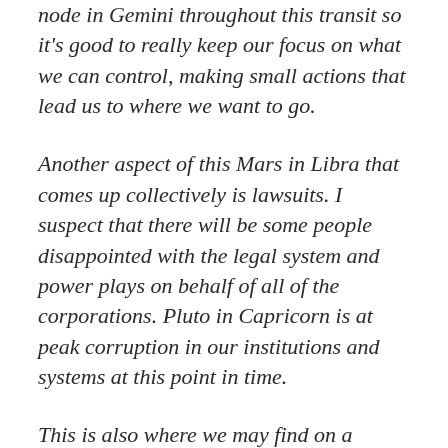node in Gemini throughout this transit so it's good to really keep our focus on what we can control, making small actions that lead us to where we want to go.
Another aspect of this Mars in Libra that comes up collectively is lawsuits. I suspect that there will be some people disappointed with the legal system and power plays on behalf of all of the corporations. Pluto in Capricorn is at peak corruption in our institutions and systems at this point in time.
This is also where we may find on a positive note that it's easier to be diplomatic and to get your point across, and people who realize just how aggressive they've become may have